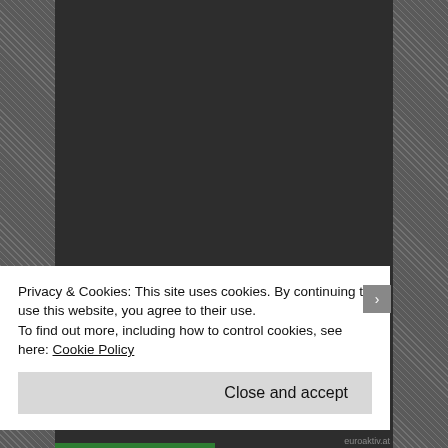head of Austrian EU Permanent Representation
ARCHIVES Treaty of Rome
[Figure (photo): Black and white photograph of a formal meeting or signing ceremony, showing several men in suits seated at a long table with microphones, and one man standing at a podium or lectern addressing the group. The setting appears to be an official government or diplomatic event.]
Privacy & Cookies: This site uses cookies. By continuing to use this website, you agree to their use.
To find out more, including how to control cookies, see here: Cookie Policy
Close and accept